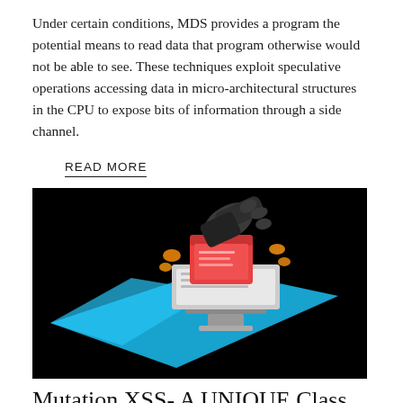Under certain conditions, MDS provides a program the potential means to read data that program otherwise would not be able to see. These techniques exploit speculative operations accessing data in micro-architectural structures in the CPU to expose bits of information through a side channel.
READ MORE
[Figure (illustration): Illustration on black background showing a stylized computer monitor with a blue light projection, red folder/document being grabbed by a dark gloved hand, with orange accent shapes suggesting data theft.]
Mutation XSS- A UNIQUE Class of XSS
Mutated XSS happens when the attacker injects something that is seemingly safe, but rewritten and modified by the browser, while parsing the markup. This makes it extremely